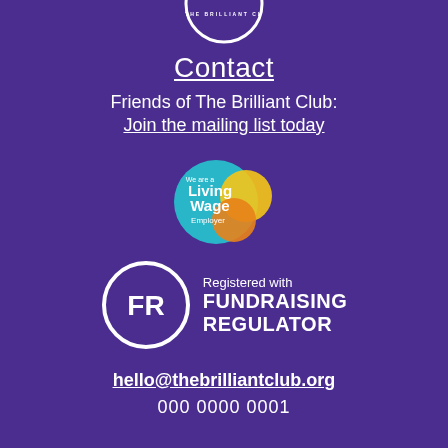[Figure (logo): Partial circular logo for The Brilliant Club at top of page]
Contact
Friends of The Brilliant Club:
Join the mailing list today
[Figure (logo): Living Wage Employer badge - circular teal and yellow logo with text 'We are a Living Wage Employer']
[Figure (logo): Fundraising Regulator logo - FR in circle with text 'Registered with FUNDRAISING REGULATOR']
hello@thebrilliantclub.org
000 0000 0001